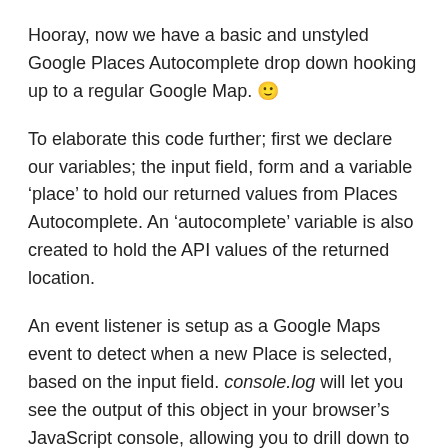Hooray, now we have a basic and unstyled Google Places Autocomplete drop down hooking up to a regular Google Map. 🙂
To elaborate this code further; first we declare our variables; the input field, form and a variable 'place' to hold our returned values from Places Autocomplete. An 'autocomplete' variable is also created to hold the API values of the returned location.
An event listener is setup as a Google Maps event to detect when a new Place is selected, based on the input field. console.log will let you see the output of this object in your browser's JavaScript console, allowing you to drill down to see each parameter within the object. To access the longitude and latitude values for example, we can use place.geometry.location.lat() and place.geometry.location.lng().